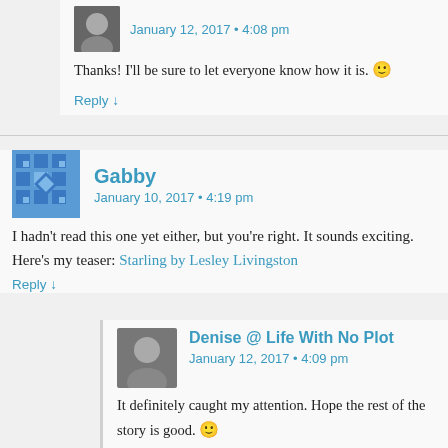January 12, 2017 • 4:08 pm
Thanks! I'll be sure to let everyone know how it is. 🙂
Reply ↓
Gabby
January 10, 2017 • 4:19 pm
I hadn't read this one yet either, but you're right. It sounds exciting. Here's my teaser: Starling by Lesley Livingston
Reply ↓
Denise @ Life With No Plot
January 12, 2017 • 4:09 pm
It definitely caught my attention. Hope the rest of the story is good. 🙂